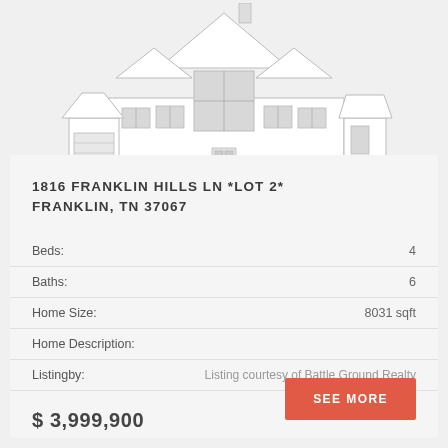[Figure (illustration): Architectural line drawing / sketch of a large house (front elevation), white exterior with gabled roof, tall windows, garage on left side.]
1816 FRANKLIN HILLS LN *LOT 2* FRANKLIN, TN 37067
| Beds: | 4 |
| Baths: | 6 |
| Home Size: | 8031 sqft |
| Home Description: |  |
| Listingby: | Listing courtesy of Battle Ground Realty |
$ 3,999,900
SEE MORE